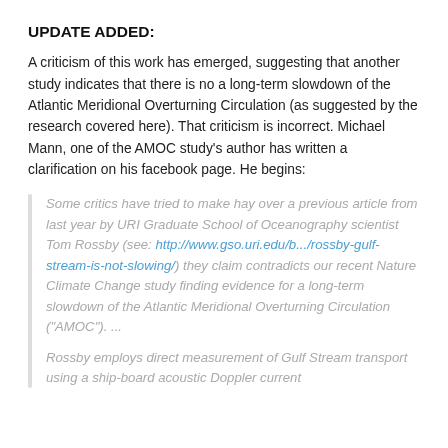UPDATE ADDED:
A criticism of this work has emerged, suggesting that another study indicates that there is no a long-term slowdown of the Atlantic Meridional Overturning Circulation (as suggested by the research covered here). That criticism is incorrect. Michael Mann, one of the AMOC study's author has written a clarification on his facebook page. He begins:
Some critics have tried to make hay over a previous article from last year by URI Graduate School of Oceanography scientist Tom Rossby (see: http://www.gso.uri.edu/b.../rossby-gulf-stream-is-not-slowing/) they claim contradicts our recent Nature Climate Change study finding evidence for a long-term slowdown of the Atlantic Meridional Overturning Circulation ("AMOC"). ...
Rossby employs direct measurement of Gulf Stream transport using a ship-board acoustic Doppler current profiler (ADCP) over the data period 1993-2013, claim...